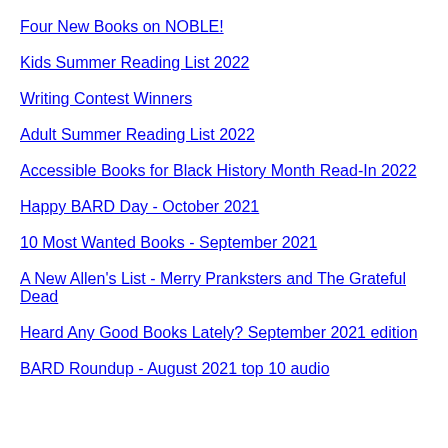Four New Books on NOBLE!
Kids Summer Reading List 2022
Writing Contest Winners
Adult Summer Reading List 2022
Accessible Books for Black History Month Read-In 2022
Happy BARD Day - October 2021
10 Most Wanted Books - September 2021
A New Allen's List - Merry Pranksters and The Grateful Dead
Heard Any Good Books Lately? September 2021 edition
BARD Roundup - August 2021 top 10 audio